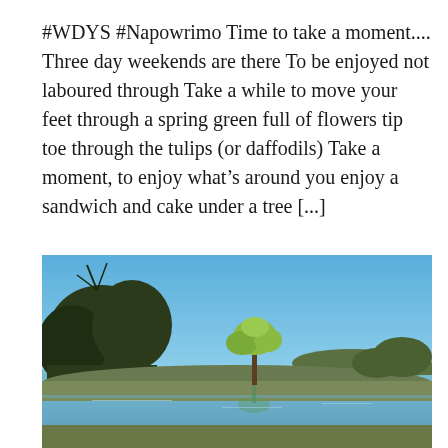#WDYS #Napowrimo Time to take a moment.... Three day weekends are there To be enjoyed not laboured through Take a while to move your feet through a spring green full of flowers tip toe through the tulips (or daffodils) Take a moment, to enjoy what's around you enjoy a sandwich and cake under a tree [...]
[Figure (photo): Outdoor landscape photo showing a lake or reservoir with bare and budding trees on the left and a small leafy tree in the centre-right, under a clear blue sky. There is water in the foreground and middle ground.]